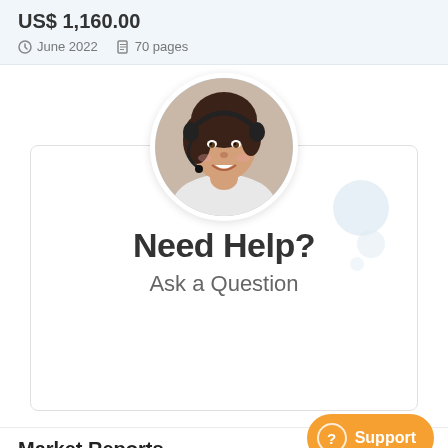US$ 1,160.00
June 2022    70 pages
[Figure (photo): Customer support representative — woman with dark hair wearing a headset, smiling, in a circular cropped portrait photo]
Need Help?
Ask a Question
Market Reports
Support